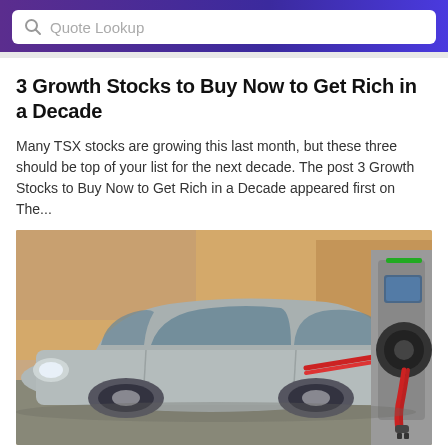Quote Lookup
3 Growth Stocks to Buy Now to Get Rich in a Decade
Many TSX stocks are growing this last month, but these three should be top of your list for the next decade. The post 3 Growth Stocks to Buy Now to Get Rich in a Decade appeared first on The...
[Figure (photo): Photograph of an electric vehicle plugged into a charging station with a red cable. A silver/grey car is visible with a red charging cord connecting to a dark grey EV charging unit on the right side of the image.]